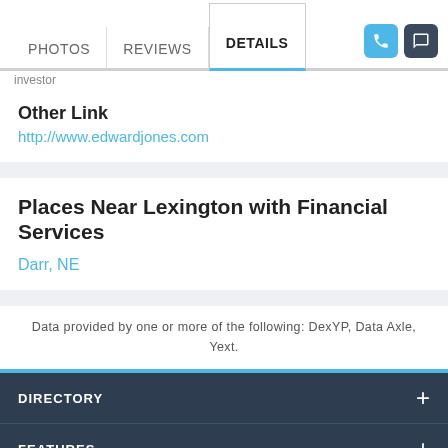PHOTOS | REVIEWS | DETAILS
Other Link
http://www.edwardjones.com
Places Near Lexington with Financial Services
Darr, NE
Data provided by one or more of the following: DexYP, Data Axle, Yext.
DIRECTORY +
FEATURES +
ABOUT +